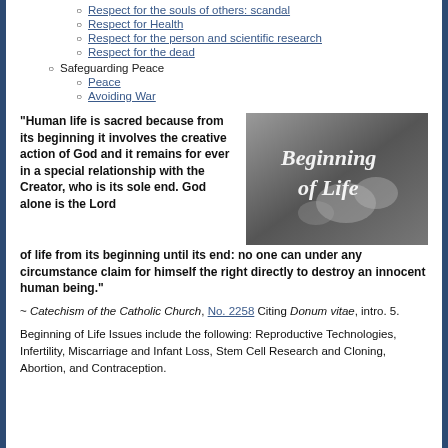Respect for the souls of others: scandal
Respect for Health
Respect for the person and scientific research
Respect for the dead
Safeguarding Peace
Peace
Avoiding War
"Human life is sacred because from its beginning it involves the creative action of God and it remains for ever in a special relationship with the Creator, who is its sole end. God alone is the Lord of life from its beginning until its end: no one can under any circumstance claim for himself the right directly to destroy an innocent human being."
[Figure (photo): Black and white photo of baby feet with script text overlay reading 'Beginning of Life']
~ Catechism of the Catholic Church, No. 2258 Citing Donum vitae, intro. 5.
Beginning of Life Issues include the following: Reproductive Technologies, Infertility, Miscarriage and Infant Loss, Stem Cell Research and Cloning, Abortion, and Contraception.